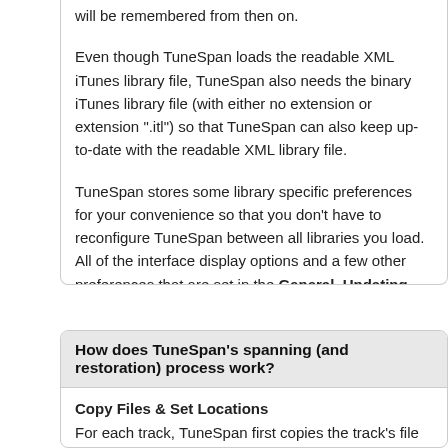will be remembered from then on.
Even though TuneSpan loads the readable XML iTunes library file, TuneSpan also needs the binary iTunes library file (with either no extension or extension ".itl") so that TuneSpan can also keep up-to-date with the readable XML library file.
TuneSpan stores some library specific preferences for your convenience so that you don't have to reconfigure TuneSpan between all libraries you load. All of the interface display options and a few other preferences that are set in the General, Updating, and Advanced Preferences (except one mentioned below) are shared between all libraries. TuneSpan automatically stores some other preferences that are library specific, such as your Span Locations source lists, tracks saved in the spanning queue, last spanned location used for each location set, and in the Advanced Preferences, files to leave alone for spanned tracks.
How does TuneSpan's spanning (and restoration) process work?
Copy Files & Set Locations
For each track, TuneSpan first copies the track's file to the new intended location. The copy process uses the same process that iTunes uses to organize your media. By default, TuneSpan uses the same media organization structure as iTunes uses when iTunes organizes your media.
After the files has been successfully copied, TuneSpan uses the Apple Script to set the new file locations.